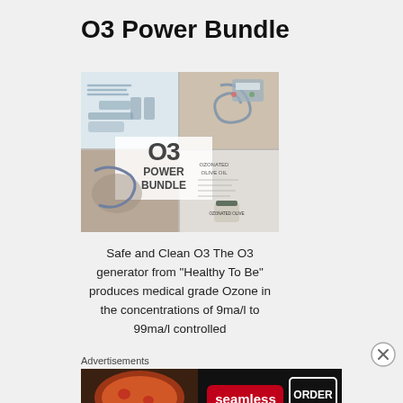O3 Power Bundle
[Figure (photo): Product photo collage showing O3 Power Bundle — includes ozone generator, tubing, accessories and ozonated olive oil, with overlay logo text 'O3 POWER BUNDLE']
Safe and Clean O3 The O3 generator from “Healthy To Be” produces medical grade Ozone in the concentrations of 9ma/l to 99ma/l controlled
Advertisements
[Figure (photo): Seamless food delivery advertisement banner showing pizza slices, Seamless logo in red, and 'ORDER NOW' in white on dark background]